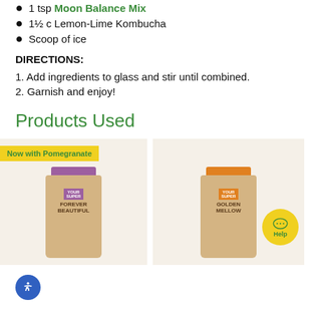1 tsp Moon Balance Mix
1½ c Lemon-Lime Kombucha
Scoop of ice
DIRECTIONS:
1. Add ingredients to glass and stir until combined.
2. Garnish and enjoy!
Products Used
[Figure (photo): Forever Beautiful supplement can with purple top label, kraft body, 'Now with Pomegranate' yellow badge]
[Figure (photo): Golden Mellow supplement can with orange top label, kraft body, with yellow Help chat bubble overlay]